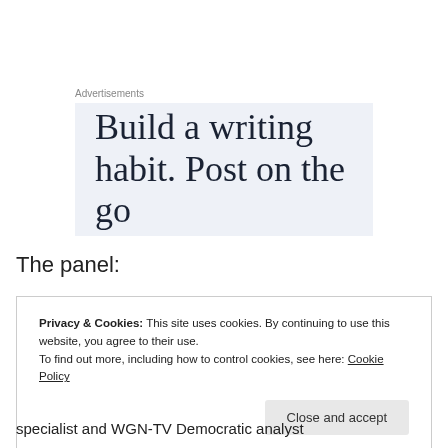Advertisements
[Figure (illustration): Advertisement banner with light blue-gray background showing text: 'Build a writing habit. Post on the go' in large serif font]
The panel:
Privacy & Cookies: This site uses cookies. By continuing to use this website, you agree to their use.
To find out more, including how to control cookies, see here: Cookie Policy
Close and accept
specialist and WGN-TV Democratic analyst